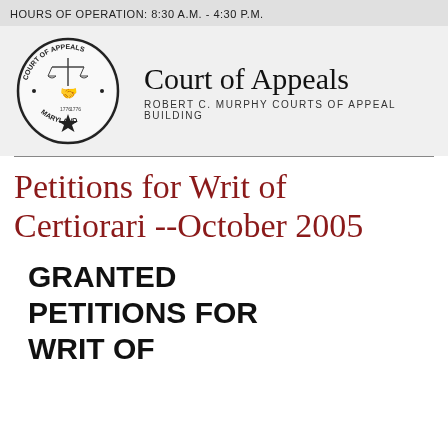HOURS OF OPERATION: 8:30 A.M. - 4:30 P.M.
[Figure (logo): Court of Appeals Maryland seal/logo — circular seal with scales of justice, handshake, and star]
Court of Appeals
ROBERT C. MURPHY COURTS OF APPEAL BUILDING
Petitions for Writ of Certiorari --October 2005
GRANTED PETITIONS FOR WRIT OF